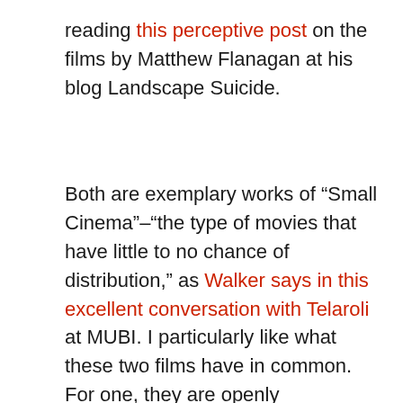reading this perceptive post on the films by Matthew Flanagan at his blog Landscape Suicide.
Both are exemplary works of “Small Cinema”–“the type of movies that have little to no chance of distribution,” as Walker says in this excellent conversation with Telaroli at MUBI. I particularly like what these two films have in common. For one, they are openly experimental, non-narrative works, but they wear their experimentalism lightly — free of gravitas but full of inventiveness and play. The other trait the films share is something very special: they are works that spring from a profoundly collective